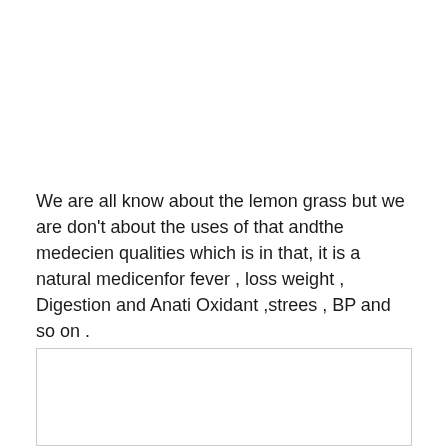We are all know about the lemon grass but we are don't about the uses of that andthe medecien qualities which is in that, it is a natural medicenfor fever , loss weight , Digestion and Anati Oxidant ,strees , BP and so on .
[Figure (other): Empty white box with light gray border, likely a placeholder for an image.]